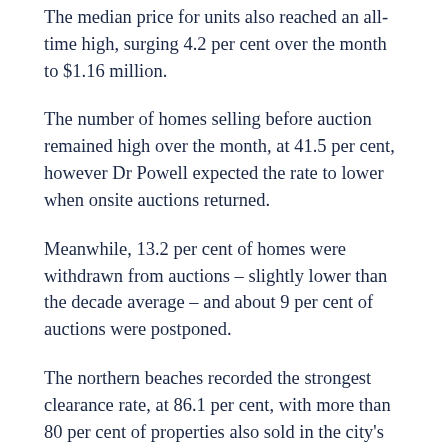The median price for units also reached an all-time high, surging 4.2 per cent over the month to $1.16 million.
The number of homes selling before auction remained high over the month, at 41.5 per cent, however Dr Powell expected the rate to lower when onsite auctions returned.
Meanwhile, 13.2 per cent of homes were withdrawn from auctions – slightly lower than the decade average – and about 9 per cent of auctions were postponed.
The northern beaches recorded the strongest clearance rate, at 86.1 per cent, with more than 80 per cent of properties also sold in the city's outer south-west, north shore, eastern suburbs and